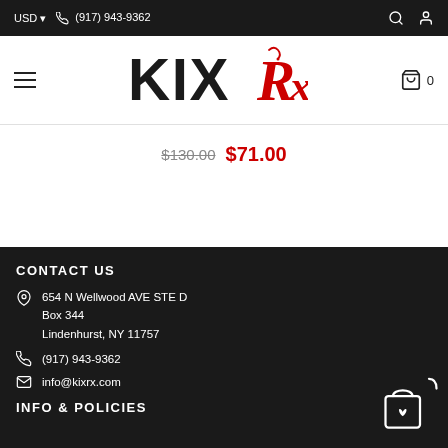USD  (917) 943-9362
[Figure (logo): KIXRx logo with stylized black KIIX lettering and red Rx script with devil-tail flourish]
$130.00  $71.00
CONTACT US
654 N Wellwood AVE STE D
Box 344
Lindenhurst, NY 11757
(917) 943-9362
info@kixrx.com
INFO & POLICIES